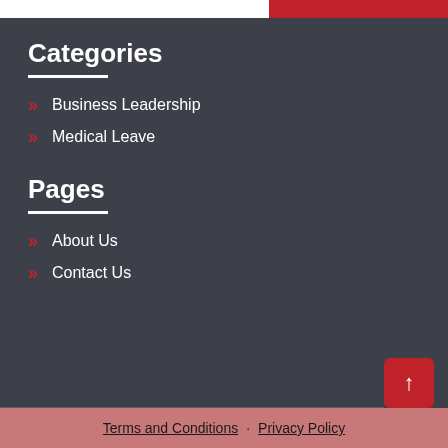Categories
Business Leadership
Medical Leave
Pages
About Us
Contact Us
Terms and Conditions · Privacy Policy